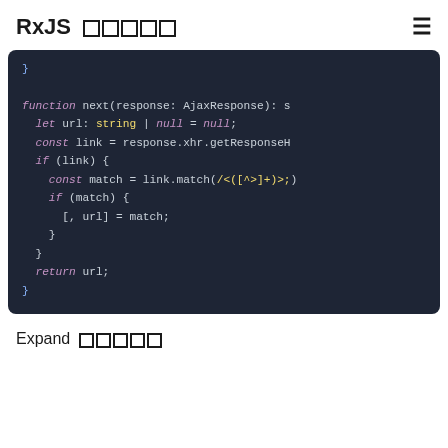RxJS ☐☐☐☐☐
[Figure (screenshot): Dark-themed code editor screenshot showing a TypeScript function 'next' that extracts a URL from an AjaxResponse using XHR header and regex matching.]
Expand ☐☐☐☐☐